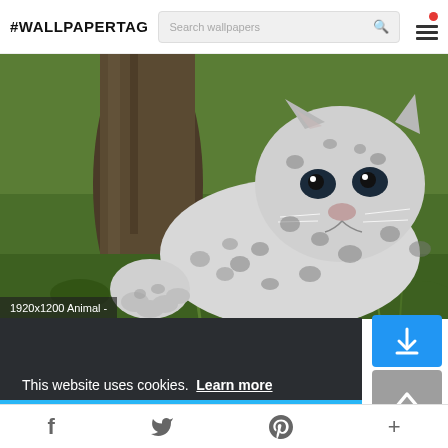#WALLPAPERTAG  Search wallpapers
[Figure (photo): Snow leopard cub sitting in green grass next to a tree trunk, black and white spotted pattern, close-up wildlife photo]
1920x1200 Animal -
[Figure (other): Blue download button with download arrow icon]
This website uses cookies.  Learn more
Got it!
[Figure (other): Grey scroll-to-top button with upward chevron arrow]
f  Twitter bird  Pinterest P  +